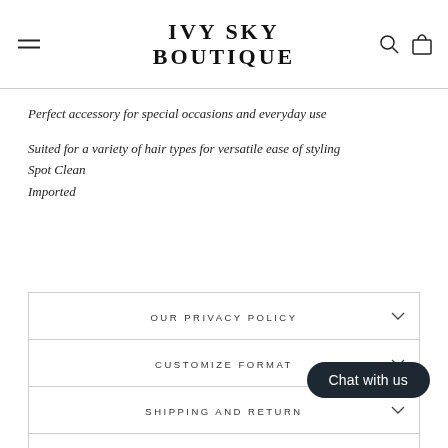IVY SKY BOUTIQUE
Perfect accessory for special occasions and everyday use
Suited for a variety of hair types for versatile ease of styling
Spot Clean
Imported
| OUR PRIVACY POLICY |
| CUSTOMIZE FORMAT |
| SHIPPING AND RETURN |
| ASK A QUESTION |
Chat with us